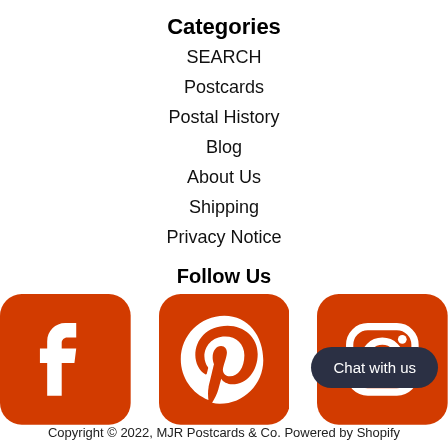Categories
SEARCH
Postcards
Postal History
Blog
About Us
Shipping
Privacy Notice
Follow Us
[Figure (illustration): Social media icons: Facebook, Pinterest, Instagram (red/orange color)]
Chat with us
Copyright © 2022, MJR Postcards & Co. Powered by Shopify